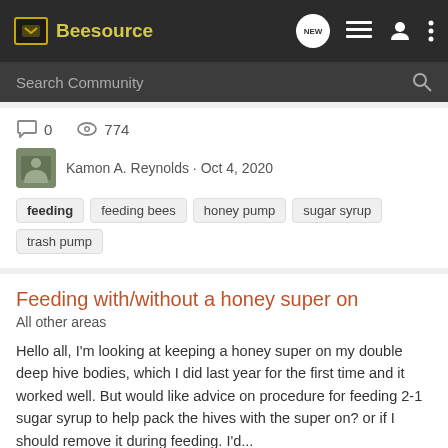Beesource
Search Community
0  774
Kamon A. Reynolds · Oct 4, 2020
feeding  feeding bees  honey pump  sugar syrup  trash pump
Feeding with/without a honey super on
All other areas
Hello all, I'm looking at keeping a honey super on my double deep hive bodies, which I did last year for the first time and it worked well. But would like advice on procedure for feeding 2-1 sugar syrup to help pack the hives with the super on? or if I should remove it during feeding. I'd...
1  912